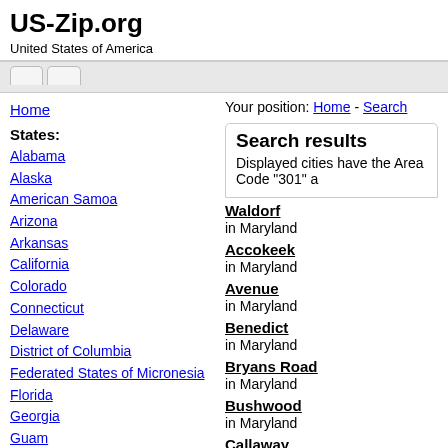US-Zip.org
United States of America
Home
States:
Alabama
Alaska
American Samoa
Arizona
Arkansas
California
Colorado
Connecticut
Delaware
District of Columbia
Federated States of Micronesia
Florida
Georgia
Guam
Hawaii
Your position: Home - Search
Search results
Displayed cities have the Area Code "301" a
Waldorf
in Maryland
Accokeek
in Maryland
Avenue
in Maryland
Benedict
in Maryland
Bryans Road
in Maryland
Bushwood
in Maryland
Callaway
in Maryland
Charlotte Hall